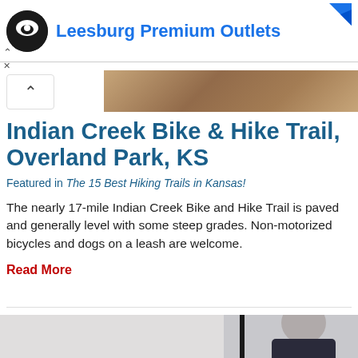[Figure (screenshot): Advertisement banner for Leesburg Premium Outlets with circular logo and blue text]
[Figure (photo): Partial banner photo of a trail or wooded area]
Indian Creek Bike & Hike Trail, Overland Park, KS
Featured in The 15 Best Hiking Trails in Kansas!
The nearly 17-mile Indian Creek Bike and Hike Trail is paved and generally level with some steep grades. Non-motorized bicycles and dogs on a leash are welcome.
Read More
[Figure (photo): Partially visible photo of a person in a dark t-shirt holding what appears to be a hiking pole]